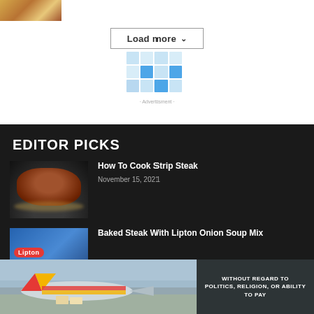[Figure (photo): Partial food image at top left corner]
Load more ˅
[Figure (logo): Advertisement placeholder with blue grid squares and 'Advertisment' label]
EDITOR PICKS
[Figure (photo): Strip steak cooking in a pan with butter]
How To Cook Strip Steak
November 15, 2021
[Figure (photo): Lipton Recipe Secrets product packaging on blue background]
Baked Steak With Lipton Onion Soup Mix
[Figure (photo): Airplane loading cargo on tarmac with Southwest Airlines colors]
WITHOUT REGARD TO POLITICS, RELIGION, OR ABILITY TO PAY